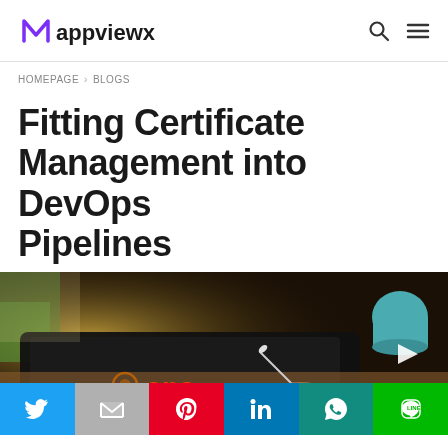AppViewX logo with search and menu icons
HOMEPAGE > BLOGS
Fitting Certificate Management into DevOps Pipelines
[Figure (photo): Person writing on a tablet with a stylus, dark tablet on a wooden desk, teal mug in background, warm sunlit scene. DevOps text overlay visible. White play/triangle button icon on right side.]
[Figure (infographic): Social sharing bar with Twitter (blue), Gmail (gray), Pinterest (red), LinkedIn (blue), WhatsApp (teal), and Line (green) buttons.]